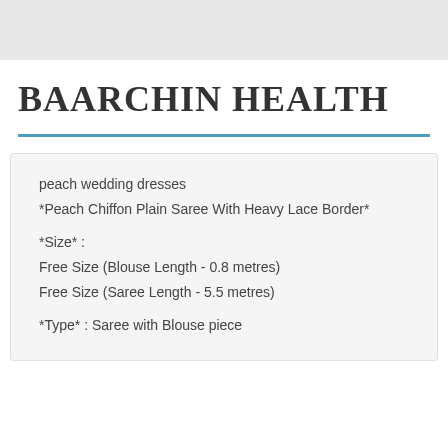BAARCHIN HEALTH
peach wedding dresses
*Peach Chiffon Plain Saree With Heavy Lace Border*
*Size* :
Free Size (Blouse Length - 0.8 metres)
Free Size (Saree Length - 5.5 metres)
*Type* : Saree with Blouse piece